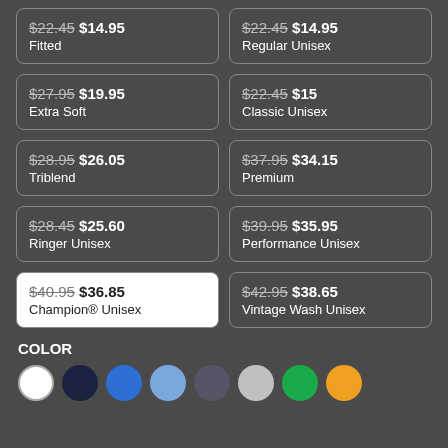$22.45 $14.95 Fitted
$22.45 $14.95 Regular Unisex
$27.95 $19.95 Extra Soft
$22.45 $15 Classic Unisex
$28.95 $26.05 Triblend
$37.95 $34.15 Premium
$28.45 $25.60 Ringer Unisex
$39.95 $35.95 Performance Unisex
$40.95 $36.85 Champion® Unisex
$42.95 $38.65 Vintage Wash Unisex
COLOR